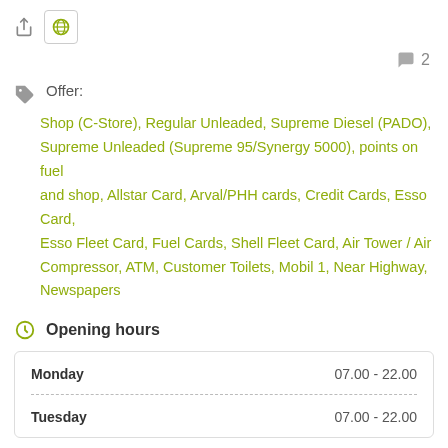[Figure (other): Share icon and globe/language button icons in top left]
2 (comment count)
Offer:
Shop (C-Store), Regular Unleaded, Supreme Diesel (PADO), Supreme Unleaded (Supreme 95/Synergy 5000), points on fuel and shop, Allstar Card, Arval/PHH cards, Credit Cards, Esso Card, Esso Fleet Card, Fuel Cards, Shell Fleet Card, Air Tower / Air Compressor, ATM, Customer Toilets, Mobil 1, Near Highway, Newspapers
Opening hours
| Day | Hours |
| --- | --- |
| Monday | 07.00 - 22.00 |
| Tuesday | 07.00 - 22.00 |